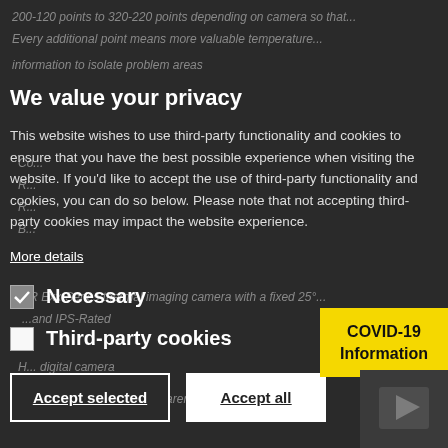We value your privacy
This website wishes to use third-party functionality and cookies to ensure that you have the best possible experience when visiting the website. If you'd like to accept the use of third-party functionality and cookies, you can do so below. Please note that not accepting third-party cookies may impact the website experience.
More details
Necessary
Third-party cookies
Accept selected
Accept all
COVID-19 Information